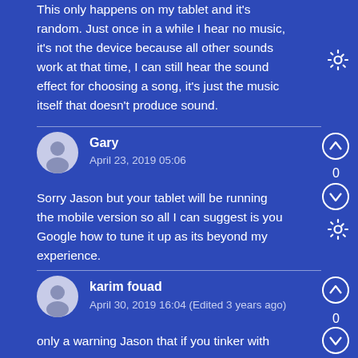This only happens on my tablet and it's random. Just once in a while I hear no music, it's not the device because all other sounds work at that time, I can still hear the sound effect for choosing a song, it's just the music itself that doesn't produce sound.
Gary
April 23, 2019 05:06
Sorry Jason but your tablet will be running the mobile version so all I can suggest is you Google how to tune it up as its beyond my experience.
karim fouad
April 30, 2019 16:04 (Edited 3 years ago)
only a warning Jason that if you tinker with